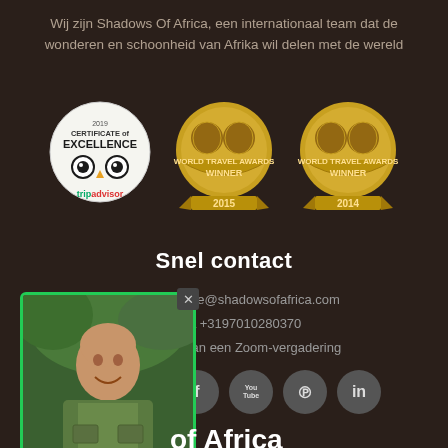Wij zijn Shadows Of Africa, een internationaal team dat de wonderen en schoonheid van Afrika wil delen met de wereld
[Figure (logo): TripAdvisor 2019 Certificate of Excellence badge]
[Figure (logo): World Travel Awards Winner 2015 gold medallion badge]
[Figure (logo): World Travel Awards Winner 2014 gold medallion badge]
Snel contact
inge@shadowsofafrica.com
NL +3197010280370
Plan een Zoom-vergadering
[Figure (photo): Photo of a bald man smiling, wearing a green safari vest, with green border frame and X close button]
of Africa